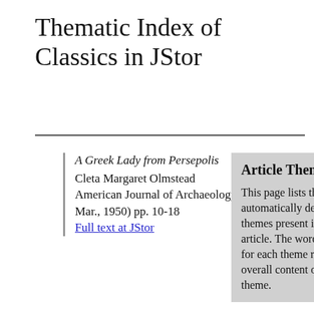Thematic Index of Classics in JStor
A Greek Lady from Persepolis
Cleta Margaret Olmstead
American Journal of Archaeology. (Jan. - Mar., 1950) pp. 10-18
Full text at JStor
Article Themes
This page lists the automatically detected themes present in this article. The words shown for each theme reflect the overall content of the theme.